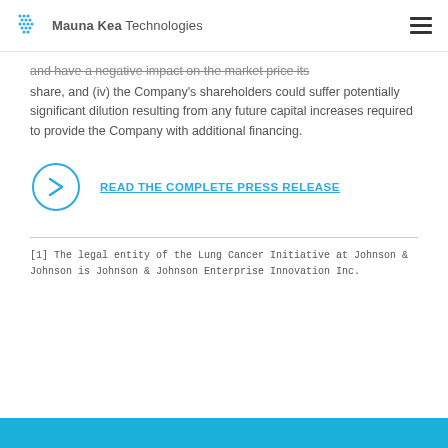Mauna Kea Technologies
and have a negative impact on the market price its share, and (iv) the Company's shareholders could suffer potentially significant dilution resulting from any future capital increases required to provide the Company with additional financing.
READ THE COMPLETE PRESS RELEASE
[1] The legal entity of the Lung Cancer Initiative at Johnson & Johnson is Johnson & Johnson Enterprise Innovation Inc.